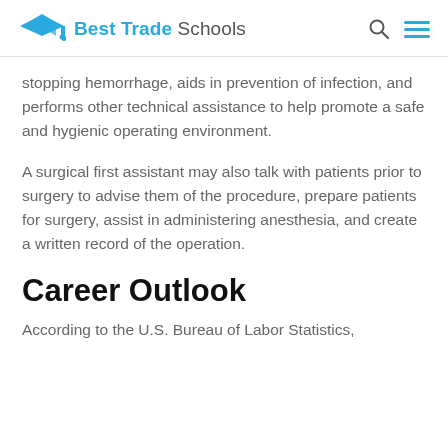Best Trade Schools
stopping hemorrhage, aids in prevention of infection, and performs other technical assistance to help promote a safe and hygienic operating environment.
A surgical first assistant may also talk with patients prior to surgery to advise them of the procedure, prepare patients for surgery, assist in administering anesthesia, and create a written record of the operation.
Career Outlook
According to the U.S. Bureau of Labor Statistics,